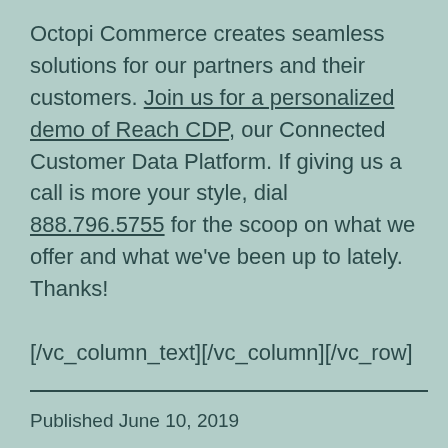Octopi Commerce creates seamless solutions for our partners and their customers. Join us for a personalized demo of Reach CDP, our Connected Customer Data Platform. If giving us a call is more your style, dial 888.796.5755 for the scoop on what we offer and what we've been up to lately. Thanks!

[/vc_column_text][/vc_column][/vc_row]
Published June 10, 2019